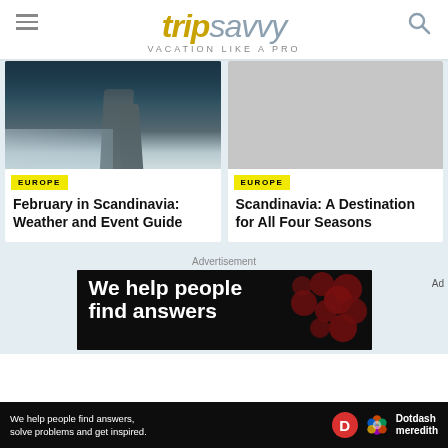tripsavvy — VACATION LIKE A PRO
[Figure (photo): Snowy Scandinavian fjord landscape with rocky cliffs and icy water]
EUROPE
February in Scandinavia: Weather and Event Guide
[Figure (photo): Gray placeholder image for Scandinavia article]
EUROPE
Scandinavia: A Destination for All Four Seasons
Advertisement
[Figure (photo): Advertisement banner reading 'We help people find answers']
We help people find answers, solve problems and get inspired. Dotdash meredith